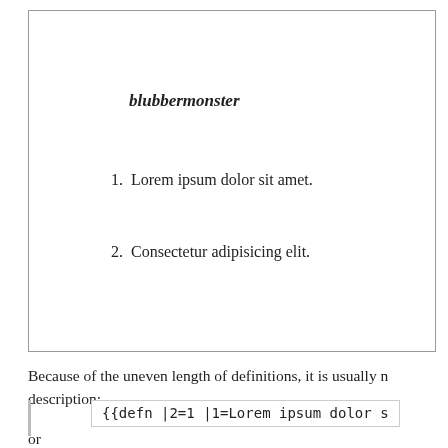blubbermonster
1.  Lorem ipsum dolor sit amet.
2.  Consectetur adipisicing elit.
Because of the uneven length of definitions, it is usually n description:
{{defn |2=1 |1=Lorem ipsum dolor s
or